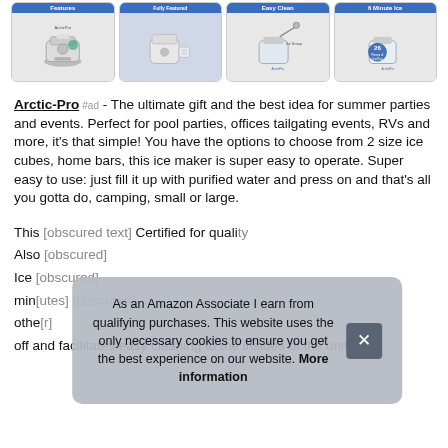[Figure (photo): Four product images of an Arctic-Pro ice maker showing Features, product lifestyle, Easy Clean, and 6 Minute Ice with blue headers]
Arctic-Pro #ad - The ultimate gift and the best idea for summer parties and events. Perfect for pool parties, offices tailgating events, RVs and more, it's that simple! You have the options to choose from 2 size ice cubes, home bars, this ice maker is super easy to operate. Super easy to use: just fill it up with purified water and press on and that's all you gotta do, camping, small or large.
This [partially obscured] Certified for quality. Also [partially obscured] Ice [partially obscured] min[utes] [partially obscured] othe[r] off and facilitates easy cleaning to the insides of the unit for
As an Amazon Associate I earn from qualifying purchases. This website uses the only necessary cookies to ensure you get the best experience on our website. More information